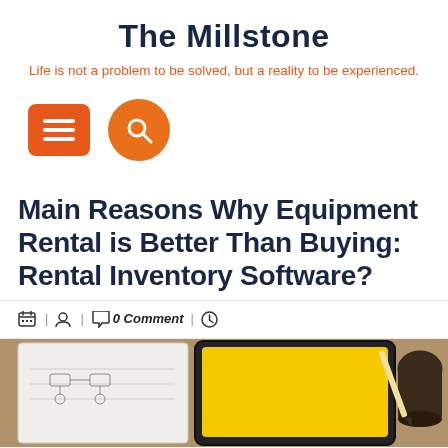The Millstone
Life is not a problem to be solved, but a reality to be experienced.
[Figure (infographic): Navigation icons: orange rounded rectangle menu (hamburger) button and orange circle search button]
Main Reasons Why Equipment Rental is Better Than Buying: Rental Inventory Software?
0 Comment
[Figure (photo): Photo of a tablet with a yellow screen and a notebook with diagrams, pencil visible, on a wooden desk]